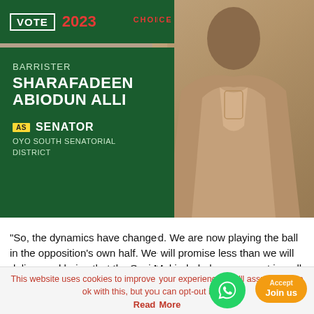[Figure (photo): Campaign poster showing Barrister Sharafadeen Abiodun Alli in traditional attire against a tan/brown background, with a dark green overlay panel on the left showing his name and senatorial candidacy information, and a 'VOTE 2023' header at the top]
"So, the dynamics have changed. We are now playing the ball in the opposition's own half. We will promise less than we will deliver and being that the Seyi Makinde-led government is well loved by the people, we will bask in his glory.
This website uses cookies to improve your experience. We'll assume you're ok with this, but you can opt-out if yo...
Read More